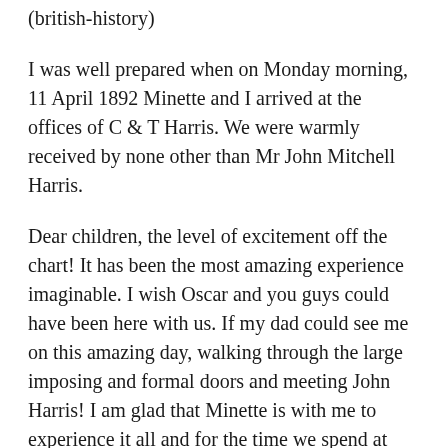(british-history)
I was well prepared when on Monday morning, 11 April 1892 Minette and I arrived at the offices of C & T Harris. We were warmly received by none other than Mr John Mitchell Harris.
Dear children, the level of excitement off the chart! It has been the most amazing experience imaginable. I wish Oscar and you guys could have been here with us. If my dad could see me on this amazing day, walking through the large imposing and formal doors and meeting John Harris! I am glad that Minette is with me to experience it all and for the time we spend at Bowood, preparing for this monumental day.